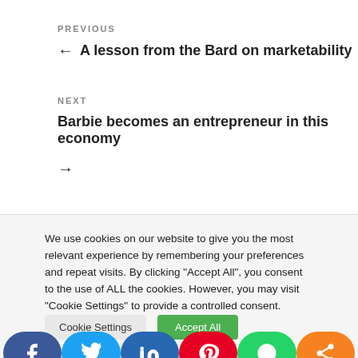PREVIOUS
← A lesson from the Bard on marketability
NEXT
Barbie becomes an entrepreneur in this economy →
We use cookies on our website to give you the most relevant experience by remembering your preferences and repeat visits. By clicking "Accept All", you consent to the use of ALL the cookies. However, you may visit "Cookie Settings" to provide a controlled consent.